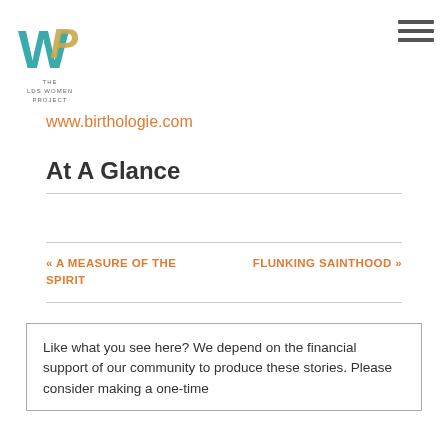[Figure (logo): The LDS Women Project logo — teal W and gold P letters combined, with text 'THE LDS WOMEN PROJECT' below]
www.birthologie.com
At A Glance
« A MEASURE OF THE SPIRIT
FLUNKING SAINTHOOD »
Like what you see here? We depend on the financial support of our community to produce these stories. Please consider making a one-time